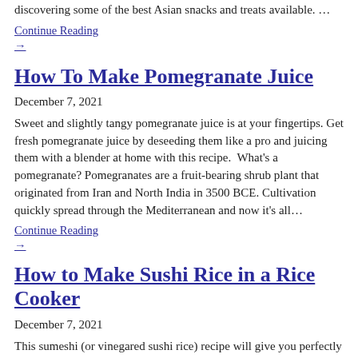discovering some of the best Asian snacks and treats available. …
Continue Reading
→
How To Make Pomegranate Juice
December 7, 2021
Sweet and slightly tangy pomegranate juice is at your fingertips. Get fresh pomegranate juice by deseeding them like a pro and juicing them with a blender at home with this recipe.  What's a pomegranate? Pomegranates are a fruit-bearing shrub plant that originated from Iran and North India in 3500 BCE. Cultivation quickly spread through the Mediterranean and now it's all…
Continue Reading
→
How to Make Sushi Rice in a Rice Cooker
December 7, 2021
This sumeshi (or vinegared sushi rice) recipe will give you perfectly plump and seasoned sushi rice that can be topped with